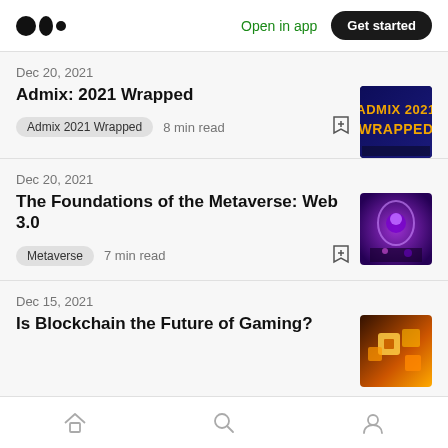Medium logo | Open in app | Get started
Dec 20, 2021
Admix: 2021 Wrapped
Admix 2021 Wrapped  8 min read
[Figure (photo): Admix 2021 Wrapped article thumbnail with yellow/gold text on dark blue background]
Dec 20, 2021
The Foundations of the Metaverse: Web 3.0
Metaverse  7 min read
[Figure (photo): Metaverse article thumbnail with purple/violet cyberpunk style image]
Dec 15, 2021
Is Blockchain the Future of Gaming?
[Figure (photo): Blockchain gaming article thumbnail with orange/golden colors]
Home | Search | Profile